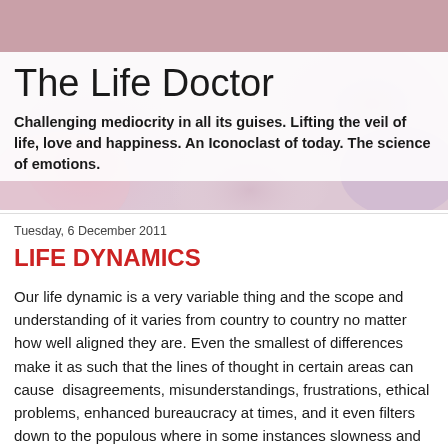The Life Doctor
Challenging mediocrity in all its guises. Lifting the veil of life, love and happiness. An Iconoclast of today. The science of emotions.
Tuesday, 6 December 2011
LIFE DYNAMICS
Our life dynamic is a very variable thing and the scope and understanding of it varies from country to country no matter how well aligned they are. Even the smallest of differences make it as such that the lines of thought in certain areas can cause  disagreements, misunderstandings, frustrations, ethical problems, enhanced bureaucracy at times, and it even filters down to the populous where in some instances slowness and laziness is endemic like in Africa and the Middle East. Attitudes lead the way forward, if the general attitude of people is bright and ebullient and cheerful, then